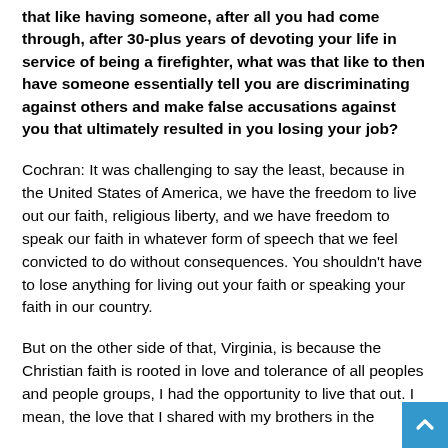that like having someone, after all you had come through, after 30-plus years of devoting your life in service of being a firefighter, what was that like to then have someone essentially tell you are discriminating against others and make false accusations against you that ultimately resulted in you losing your job?
Cochran: It was challenging to say the least, because in the United States of America, we have the freedom to live out our faith, religious liberty, and we have freedom to speak our faith in whatever form of speech that we feel convicted to do without consequences. You shouldn't have to lose anything for living out your faith or speaking your faith in our country.
But on the other side of that, Virginia, is because the Christian faith is rooted in love and tolerance of all peoples and people groups, I had the opportunity to live that out. I mean, the love that I shared with my brothers in the